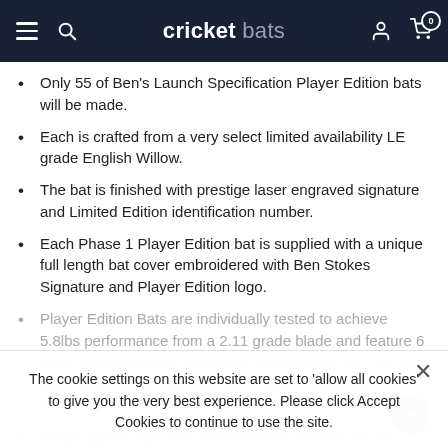cricket bats
Only 55 of Ben's Launch Specification Player Edition bats will be made.
Each is crafted from a very select limited availability LE grade English Willow.
The bat is finished with prestige laser engraved signature and Limited Edition identification number.
Each Phase 1 Player Edition bat is supplied with a unique full length bat cover embroidered with Ben Stokes Signature and Player Edition logo.
Player Edition Bats are individually tested to achieve 5.8lbs performance from a 2.11 grade blade and feature 6 piece premium cane handles for outstanding feel, flex and control. 3M NOW! and ToeTek™ finish is fitted as standard.
Player Edition bats are not knocked-in and will be "as finished" Ben's Specification is L555 blade length, mid to low sweet
The cookie settings on this website are set to 'allow all cookies' to give you the very best experience. Please click Accept Cookies to continue to use the site.
ACCEPT COOKIES